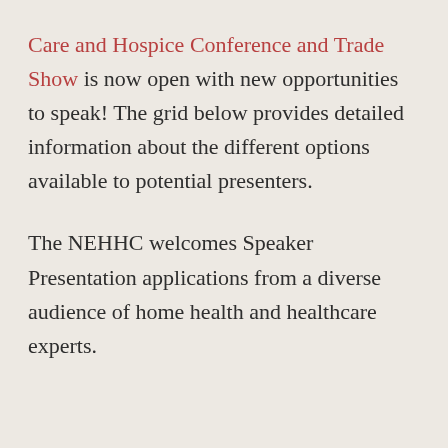Care and Hospice Conference and Trade Show is now open with new opportunities to speak! The grid below provides detailed information about the different options available to potential presenters.
The NEHHC welcomes Speaker Presentation applications from a diverse audience of home health and healthcare experts.